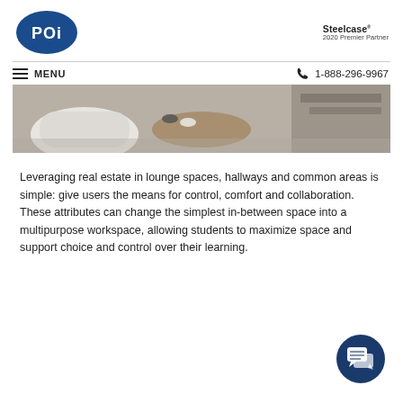POI logo | Steelcase 2020 Premier Partner
MENU | 1-888-296-9967
[Figure (photo): Top-down photo of lounge/common area with chairs and feet of people sitting, showing a wooden table and textured flooring.]
Leveraging real estate in lounge spaces, hallways and common areas is simple: give users the means for control, comfort and collaboration. These attributes can change the simplest in-between space into a multipurpose workspace, allowing students to maximize space and support choice and control over their learning.